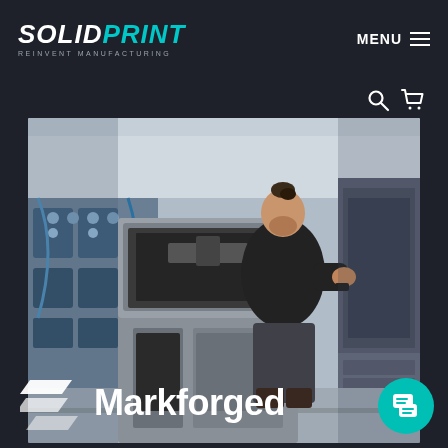SOLIDPRINT REINVENT MANUFACTURING | MENU
[Figure (photo): A person with a bun hairstyle wearing a black t-shirt operating a large grey industrial 3D printer (Markforged) in a manufacturing facility. Blue industrial equipment and tool cabinets visible in the background.]
[Figure (logo): Markforged logo — stylized overlapping parallelogram symbol followed by 'Markforged' in white bold text on dark background.]